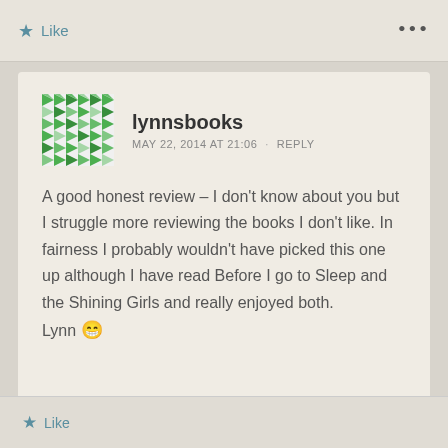Like  ...
lynnsbooks
MAY 22, 2014 AT 21:06 · REPLY
A good honest review – I don't know about you but I struggle more reviewing the books I don't like. In fairness I probably wouldn't have picked this one up although I have read Before I go to Sleep and the Shining Girls and really enjoyed both.
Lynn 😀
Like